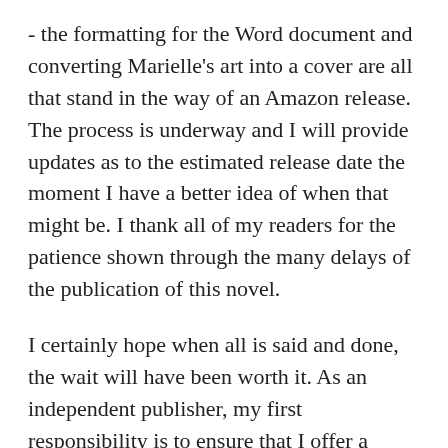- the formatting for the Word document and converting Marielle's art into a cover are all that stand in the way of an Amazon release. The process is underway and I will provide updates as to the estimated release date the moment I have a better idea of when that might be. I thank all of my readers for the patience shown through the many delays of the publication of this novel.
I certainly hope when all is said and done, the wait will have been worth it. As an independent publisher, my first responsibility is to ensure that I offer a product that matches the quality of the traditional publishers. I've had to proceed at a slower pace due to some of the steps of